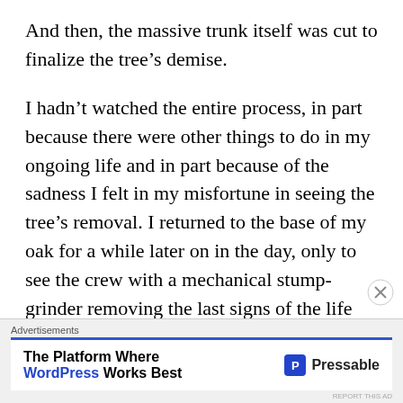And then, the massive trunk itself was cut to finalize the tree’s demise.
I hadn’t watched the entire process, in part because there were other things to do in my ongoing life and in part because of the sadness I felt in my misfortune in seeing the tree’s removal. I returned to the base of my oak for a while later on in the day, only to see the crew with a mechanical stump-grinder removing the last signs of the life that hours before had stood in such majesty.
[Figure (screenshot): Advertisement banner: 'The Platform Where WordPress Works Best' with Pressable logo. Blue underline separator and grey background.]